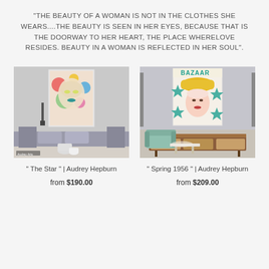"THE BEAUTY OF A WOMAN IS NOT IN THE CLOTHES SHE WEARS....THE BEAUTY IS SEEN IN HER EYES, BECAUSE THAT IS THE DOORWAY TO HER HEART, THE PLACE WHERELOVE RESIDES. BEAUTY IN A WOMAN IS REFLECTED IN HER SOUL".
[Figure (photo): Colorful pop-art portrait of Audrey Hepburn hung on a wall above a grey sofa in a modern living room]
" The Star " | Audrey Hepburn
from $190.00
[Figure (photo): Colorful magazine-style portrait artwork of a woman with a yellow hat hung on a wall above a mid-century modern sideboard and teal armchair]
" Spring 1956 " | Audrey Hepburn
from $209.00